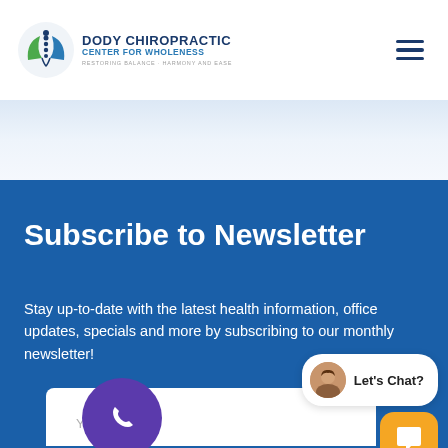[Figure (logo): Dody Chiropractic Center for Wholeness logo with circular emblem showing a spine/person silhouette with green and blue colors]
Subscribe to Newsletter
Stay up-to-date with the latest health information, office updates, specials and more by subscribing to our monthly newsletter!
[Figure (other): White form card with Your Email: input field label in gray]
[Figure (other): Purple circular phone button with white phone icon]
[Figure (other): Chat widget — white bubble with avatar and Let's Chat? text, plus orange rounded square chat icon below]